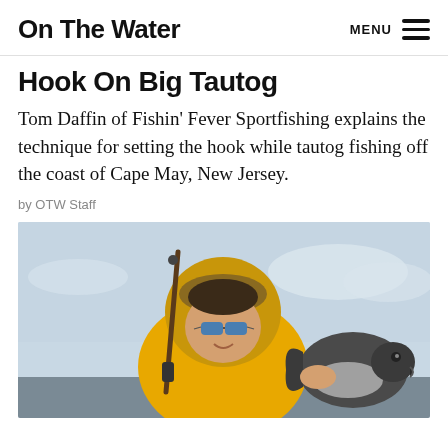On The Water  MENU
Hook On Big Tautog
Tom Daffin of Fishin' Fever Sportfishing explains the technique for setting the hook while tautog fishing off the coast of Cape May, New Jersey.
by OTW Staff
[Figure (photo): A young person wearing sunglasses and a yellow jacket holds up a large tautog fish in one hand and a fishing rod in the other, smiling at the camera on a boat with a cloudy sky in the background.]